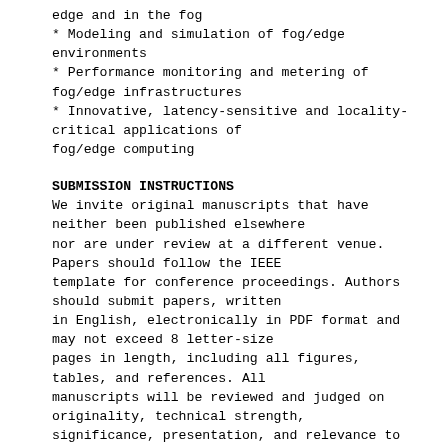edge and in the fog
* Modeling and simulation of fog/edge environments
* Performance monitoring and metering of fog/edge infrastructures
* Innovative, latency-sensitive and locality-critical applications of fog/edge computing
SUBMISSION INSTRUCTIONS
We invite original manuscripts that have neither been published elsewhere nor are under review at a different venue. Papers should follow the IEEE template for conference proceedings. Authors should submit papers, written in English, electronically in PDF format and may not exceed 8 letter-size pages in length, including all figures, tables, and references. All manuscripts will be reviewed and judged on originality, technical strength, significance, presentation, and relevance to the conference by at least three reviewers.
Papers may be submitted online at https://easychair.org/conferences/?conf=icfec22
IMPORTANT DATES